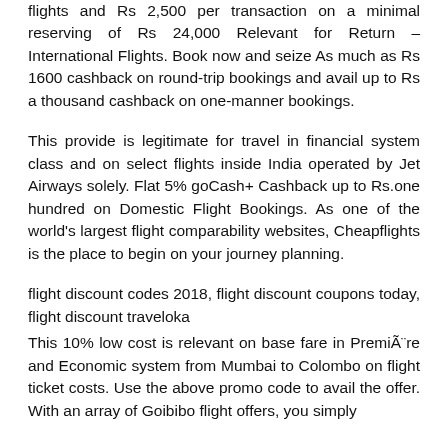flights and Rs 2,500 per transaction on a minimal reserving of Rs 24,000 Relevant for Return – International Flights. Book now and seize As much as Rs 1600 cashback on round-trip bookings and avail up to Rs a thousand cashback on one-manner bookings.
This provide is legitimate for travel in financial system class and on select flights inside India operated by Jet Airways solely. Flat 5% goCash+ Cashback up to Rs.one hundred on Domestic Flight Bookings. As one of the world's largest flight comparability websites, Cheapflights is the place to begin on your journey planning.
flight discount codes 2018, flight discount coupons today, flight discount traveloka
This 10% low cost is relevant on base fare in PremiÃ¨re and Economic system from Mumbai to Colombo on flight ticket costs. Use the above promo code to avail the offer. With an array of Goibibo flight offers, you simply